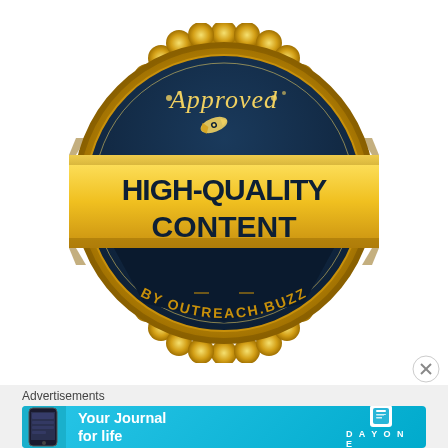[Figure (logo): Gold seal badge reading 'Approved' at top in script, 'HIGH-QUALITY CONTENT' in bold dark text on gold ribbon banner, 'BY OUTREACH.BUZZ' at bottom, with dark navy circular background and gold scalloped border]
Advertisements
[Figure (infographic): Advertisement banner for Day One journal app with light blue background, phone screenshot, 'Your Journal for life' text in white, and Day One logo]